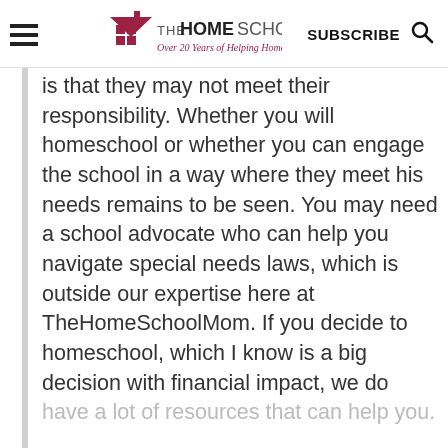THE HOMESCHOOL MOM — Over 20 Years of Helping Homeschoolers! | SUBSCRIBE
is that they may not meet their responsibility. Whether you will homeschool or whether you can engage the school in a way where they meet his needs remains to be seen. You may need a school advocate who can help you navigate special needs laws, which is outside our expertise here at TheHomeSchoolMom. If you decide to homeschool, which I know is a big decision with financial impact, we do have a lot of resources that can help you.